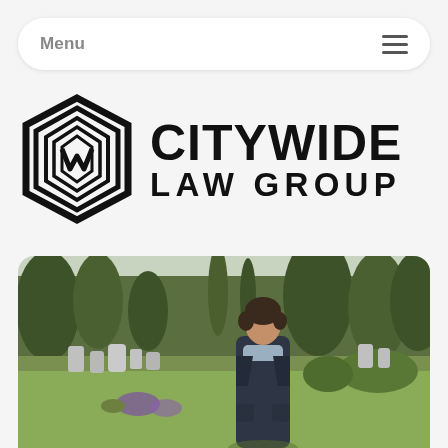Menu ☰
[Figure (logo): Citywide Law Group logo with geometric hexagon emblem and bold text reading CITYWIDE LAW GROUP]
[Figure (photo): A woman in a dark coat standing in a cemetery with gravestones and trees in the background on a bright day]